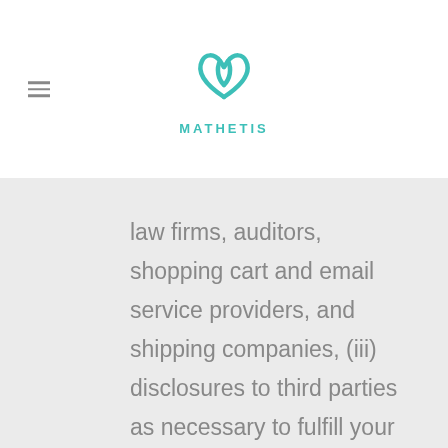MATHETIS
law firms, auditors, shopping cart and email service providers, and shipping companies, (iii) disclosures to third parties as necessary to fulfill your requests, (iv) disclosures to governmental agencies or law enforcement departments, or as otherwise required to be made under applicable